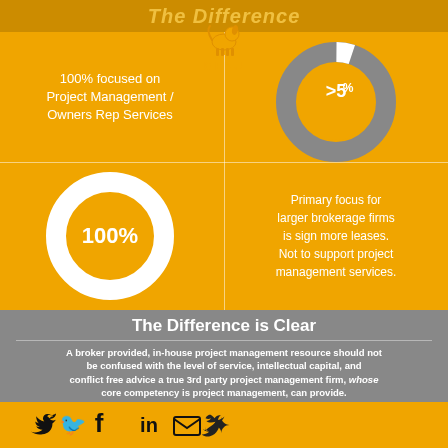The Difference
100% focused on Project Management / Owners Rep Services
[Figure (donut-chart): White donut chart showing 100% with orange center label]
[Figure (donut-chart): Gray donut chart showing small white slice (~5%) with label >5%]
Primary focus for larger brokerage firms is sign more leases. Not to support project management services.
The Difference is Clear
A broker provided, in-house project management resource should not be confused with the level of service, intellectual capital, and conflict free advice a true 3rd party project management firm, whose core competency is project management, can provide.
[Figure (infographic): Social media footer icons: Twitter, Facebook, LinkedIn, Email on orange bar]